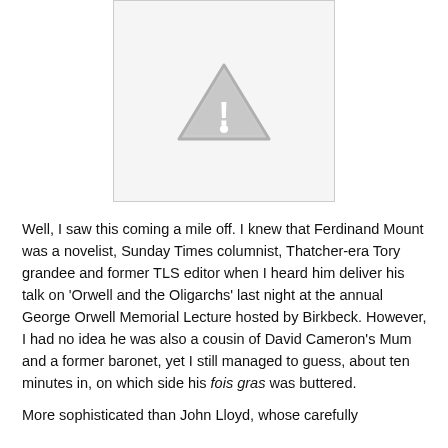[Figure (other): Image placeholder with warning triangle and exclamation mark icon on light grey background]
Well, I saw this coming a mile off. I knew that Ferdinand Mount was a novelist, Sunday Times columnist, Thatcher-era Tory grandee and former TLS editor when I heard him deliver his talk on 'Orwell and the Oligarchs' last night at the annual George Orwell Memorial Lecture hosted by Birkbeck. However, I had no idea he was also a cousin of David Cameron's Mum and a former baronet, yet I still managed to guess, about ten minutes in, on which side his fois gras was buttered.
More sophisticated than John Lloyd, whose carefully